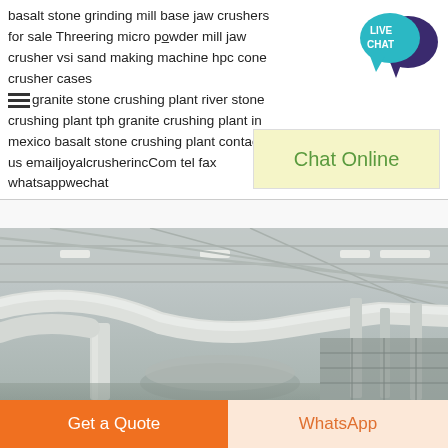basalt stone grinding mill base jaw crushers for sale Threering micro powder mill jaw crusher vsi sand making machine hpc cone crusher cases granite stone crushing plant river stone crushing plant tph granite crushing plant in mexico basalt stone crushing plant contact us emailjoyalcrusherincCom tel fax whatsappwechat
[Figure (illustration): Live Chat speech bubble icon in teal and dark purple]
Chat Online
[Figure (photo): Interior of an industrial factory facility showing large white pipes and machinery under a metal roof with ceiling lights]
Get a Quote
WhatsApp